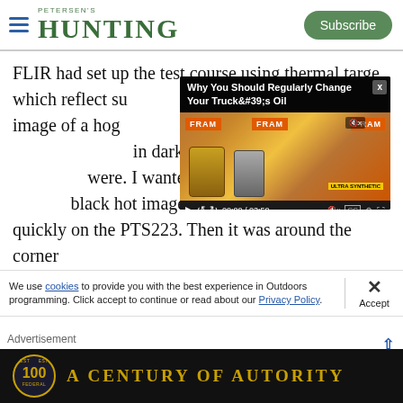PETERSEN'S HUNTING | Subscribe
FLIR had set up the test course using thermal targets which reflect sunlight and present a lifelike thermal image of a hog. thermal optics and in darkness I was were. I wanted black hot image quickly on the PTS223. Then it was around the corner
[Figure (screenshot): Embedded video player showing 'Why You Should Regularly Change Your Truck's Oil' with FRAM oil filter products visible. Video time shows 00:00 / 03:50. Controls include play, rewind, forward, mute, CC, settings, fullscreen.]
We use cookies to provide you with the best experience in Outdoors programming. Click accept to continue or read about our Privacy Policy.
[Figure (advertisement): Federal ammunition advertisement banner showing '100' badge with 'A CENTURY OF AUTORITY' tagline in gold on black background.]